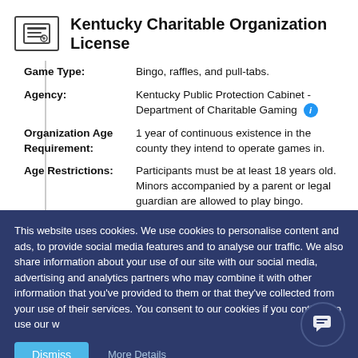Kentucky Charitable Organization License
| Field | Value |
| --- | --- |
| Game Type: | Bingo, raffles, and pull-tabs. |
| Agency: | Kentucky Public Protection Cabinet - Department of Charitable Gaming |
| Organization Age Requirement: | 1 year of continuous existence in the county they intend to operate games in. |
| Age Restrictions: | Participants must be at least 18 years old. Minors accompanied by a parent or legal guardian are allowed to play bingo. |
| Law: | KY Stat. § 238.500 et seq. |
This website uses cookies. We use cookies to personalise content and ads, to provide social media features and to analyse our traffic. We also share information about your use of our site with our social media, advertising and analytics partners who may combine it with other information that you've provided to them or that they've collected from your use of their services. You consent to our cookies if you continue to use our w